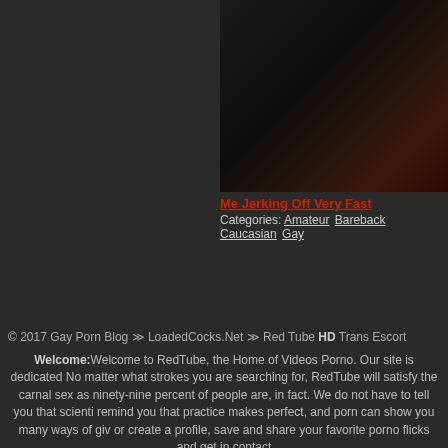[Figure (photo): Dark video thumbnail showing a partially visible figure against a dark background with some reddish tones]
Me Jerking Off Very Fast
Categories: Amateur Bareback Caucasian Gay
© 2017 Gay Porn Blog >> LoadedCocks.Net >> Red Tube HD Trans Escort
Welcome: Welcome to RedTube, the Home of Videos Porno. Our site is dedicated. No matter what strokes you are searching for, RedTube will satisfy the carnal sex as ninety-nine percent of people are, in fact. We do not have to tell you that scienti remind you that practice makes perfect, and porn can show you many ways of giv or create a profile, save and share your favorite porno flicks and get in contact
Popular Tags: Trans Escort In London blog redtube.com sexy movies fucked fuck redtube porns mobile vid sex star thumbnails films movie porno tube tubes xxx re